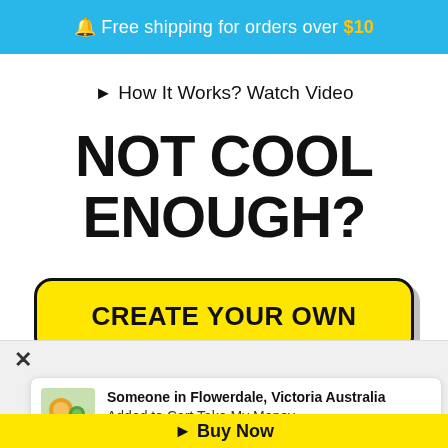🔔 Free shipping for orders over $10
► How It Works? Watch Video
NOT COOL ENOUGH?
CREATE YOUR OWN
Someone in Flowerdale, Victoria Australia
Added to Cart Take My Money
50 minutes ago
► Buy Now